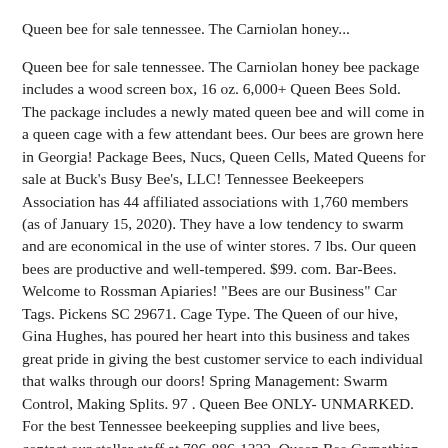Queen bee for sale tennessee. The Carniolan honey...
Queen bee for sale tennessee. The Carniolan honey bee package includes a wood screen box, 16 oz. 6,000+ Queen Bees Sold. The package includes a newly mated queen bee and will come in a queen cage with a few attendant bees. Our bees are grown here in Georgia! Package Bees, Nucs, Queen Cells, Mated Queens for sale at Buck's Busy Bee's, LLC! Tennessee Beekeepers Association has 44 affiliated associations with 1,760 members (as of January 15, 2020). They have a low tendency to swarm and are economical in the use of winter stores. 7 lbs. Our queen bees are productive and well-tempered. $99. com. Bar-Bees. Welcome to Rossman Apiaries! "Bees are our Business" Car Tags. Pickens SC 29671. Cage Type. The Queen of our hive, Gina Hughes, has poured her heart into this business and takes great pride in giving the best customer service to each individual that walks through our doors! Spring Management: Swarm Control, Making Splits. 97 . Queen Bee ONLY- UNMARKED. For the best Tennessee beekeeping supplies and live bees, contact our stellar staff at 706-886-1322. Queen Bee Carpathian imported from Ukraine, Transcarpathian region : 06. Bee and Queen Sales. These queens are raised from local survivor stock and are allowed to lay for at least two weeks, often more, prior to shipping. 5-Frame Deep Nuc w/ Open Mated Production Queen = $200 (local pickup only) Artificially